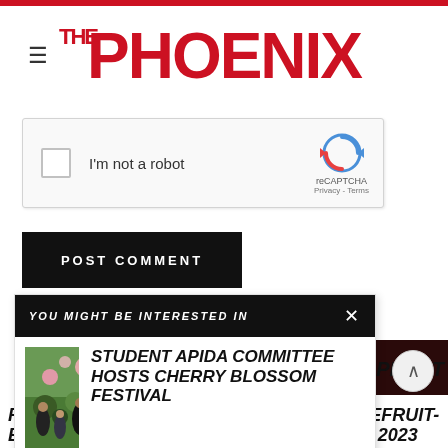THE PHOENIX
[Figure (screenshot): reCAPTCHA widget with checkbox, 'I'm not a robot' text, reCAPTCHA logo, Privacy and Terms links]
[Figure (screenshot): Black POST COMMENT button]
[Figure (screenshot): You might be interested in popup overlay with article: STUDENT APIDA COMMITTEE HOSTS CHERRY BLOSSOM FESTIVAL and outdoor crowd photo thumbnail]
ALEXA SPECHT
REFLECTIONS FROM A SENIOR: A (GRAPEFRUIT-ESQUE) LOVE LETTER TO THE CLASS OF 2023